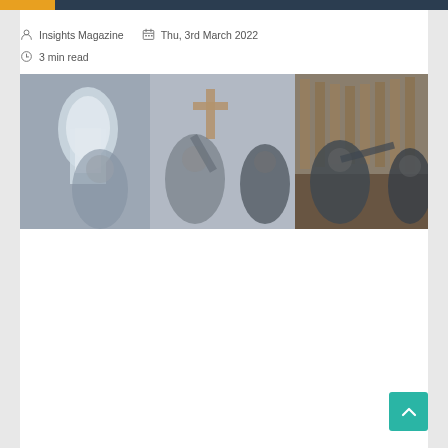Insights Magazine | Thu, 3rd March 2022 | 3 min read
[Figure (photo): Blurred photo of people inside a church with a wooden cross visible on the wall, arched windows with light, and a large wooden organ pipe structure. People in black clothing appear to be performing or conducting.]
[Figure (other): Teal/green scroll-to-top button with upward chevron arrow in the bottom right corner]